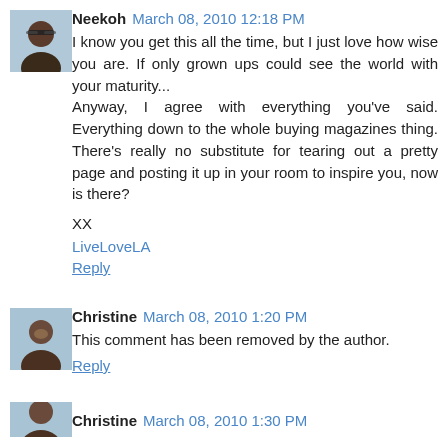[Figure (photo): Avatar thumbnail of user Neekoh - person with sunglasses]
Neekoh March 08, 2010 12:18 PM
I know you get this all the time, but I just love how wise you are. If only grown ups could see the world with your maturity...
Anyway, I agree with everything you've said. Everything down to the whole buying magazines thing. There's really no substitute for tearing out a pretty page and posting it up in your room to inspire you, now is there?
XX
LiveLoveLA
Reply
[Figure (photo): Avatar thumbnail of user Christine]
Christine March 08, 2010 1:20 PM
This comment has been removed by the author.
Reply
[Figure (photo): Partial avatar thumbnail of user Christine (bottom of page)]
Christine March 08, 2010 1:30 PM